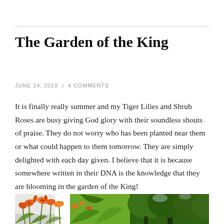The Garden of the King
JUNE 24, 2018 / 4 COMMENTS
It is finally really summer and my Tiger Lilies and Shrub Roses are busy giving God glory with their soundless shouts of praise. They do not worry who has been planted near them or what could happen to them tomorrow. They are simply delighted with each day given. I believe that it is because somewhere written in their DNA is the knowledge that they are blooming in the garden of the King!
[Figure (photo): Photo of orange Tiger Lilies and green trees/shrubs in a garden setting]